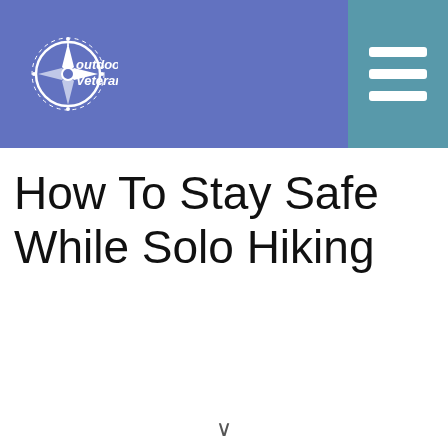Outdoor Veteran
How To Stay Safe While Solo Hiking